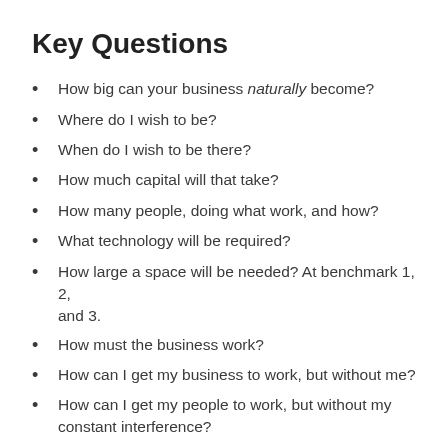Key Questions
How big can your business naturally become?
Where do I wish to be?
When do I wish to be there?
How much capital will that take?
How many people, doing what work, and how?
What technology will be required?
How large a space will be needed? At benchmark 1, 2, and 3.
How must the business work?
How can I get my business to work, but without me?
How can I get my people to work, but without my constant interference?
How can I systematize my business in such a way that it could be replicated 5,000 times, so the 5,000th unit